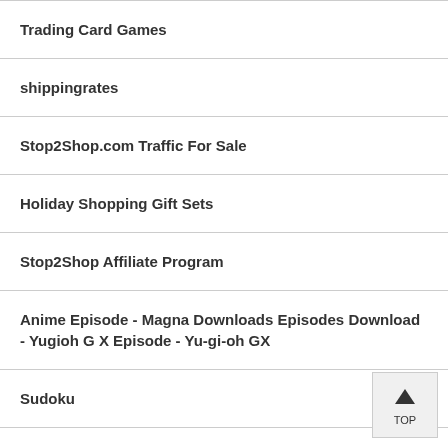Trading Card Games
shippingrates
Stop2Shop.com Traffic For Sale
Holiday Shopping Gift Sets
Stop2Shop Affiliate Program
Anime Episode - Magna Downloads Episodes Download - Yugioh G X Episode - Yu-gi-oh GX
Sudoku